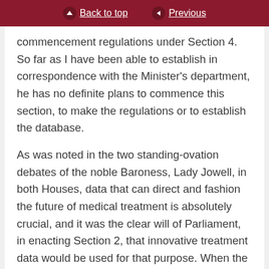Back to top | Previous
commencement regulations under Section 4. So far as I have been able to establish in correspondence with the Minister's department, he has no definite plans to commence this section, to make the regulations or to establish the database.
As was noted in the two standing-ovation debates of the noble Baroness, Lady Jowell, in both Houses, data that can direct and fashion the future of medical treatment is absolutely crucial, and it was the clear will of Parliament, in enacting Section 2, that innovative treatment data would be used for that purpose. When the Minister replies to the debate I very much hope that he will give a firm assurance about the commencement of Section 2 of the 2016 Act and for the timetable for the making of